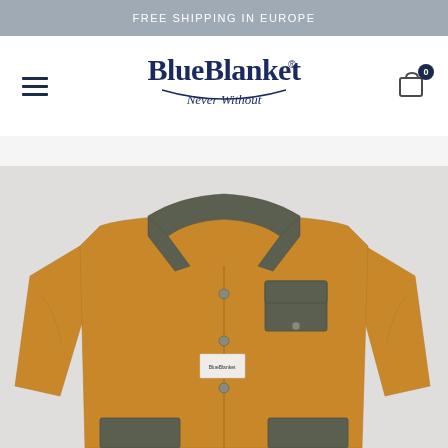FREE SHIPPING IN EUROPE
[Figure (logo): BlueBlanket Never Without logo in dark navy blue serif/script font]
[Figure (photo): A mustard/tan colored work jacket (chore coat) with dark olive/grey collar, chest pocket with flap, label patch, and two lower pockets with dark contrast fabric accents, photographed on a white/grey background]